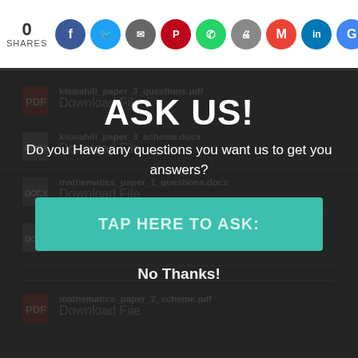0 SHARES — social share icons: Facebook, Twitter, Save, Pinterest, WhatsApp, Print, Gmail, LinkedIn, Google
kiswahili_paper_3_questions.pdf
Download File
kiswahili_paper_3_scheme.docx
Download File
mathematics_paper_1_questions.docx
Download File
mathematics_paper_2_questions.docx
Download File
mathematics_paper_2_scheme.pdf
Download File
ASK US!
Do you Have any questions you want us to get you answers?
TAP HERE TO ASK:
No Thanks!